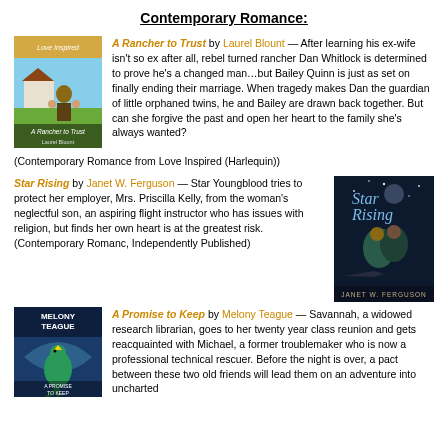Contemporary Romance:
[Figure (illustration): Book cover for 'A Rancher to Trust' by Laurel Blount — shows a man outdoors with two small children and a farmhouse]
A Rancher to Trust by Laurel Blount — After learning his ex-wife isn't so ex after all, rebel turned rancher Dan Whitlock is determined to prove he's a changed man…but Bailey Quinn is just as set on finally ending their marriage. When tragedy makes Dan the guardian of little orphaned twins, he and Bailey are drawn back together. But can she forgive the past and open her heart to the family she's always wanted? (Contemporary Romance from Love Inspired (Harlequin))
Star Rising by Janet W. Ferguson — Star Youngblood tries to protect her employer, Mrs. Priscilla Kelly, from the woman's neglectful son, an aspiring flight instructor who has issues with religion, but finds her own heart is at the greatest risk. (Contemporary Romanc, Independently Published)
[Figure (illustration): Book cover for 'Star Rising' by Janet W. Ferguson — shows a couple embracing, dark blue tones]
[Figure (illustration): Book cover for 'A Promise to Keep' by Melony Teague — shows a bird on a blue background]
A Promise to Keep by Melony Teague — Savannah, a widowed research librarian, goes to her twenty year class reunion and gets reacquainted with Michael, a former troublemaker who is now a professional technical rescuer. Before the night is over, a pact between these two old friends will lead them on an adventure into uncharted